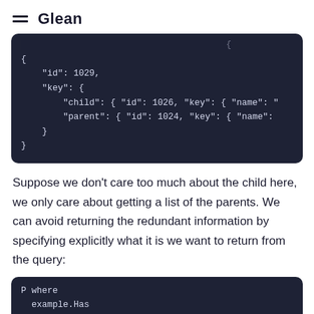≡ Glean
[Figure (screenshot): Dark code block showing JSON with id: 1029, key with child id: 1026 and parent id: 1024]
Suppose we don't care too much about the child here, we only care about getting a list of the parents. We can avoid returning the redundant information by specifying explicitly what it is we want to return from the query:
[Figure (screenshot): Dark code block showing beginning of a query: P where example.Has]